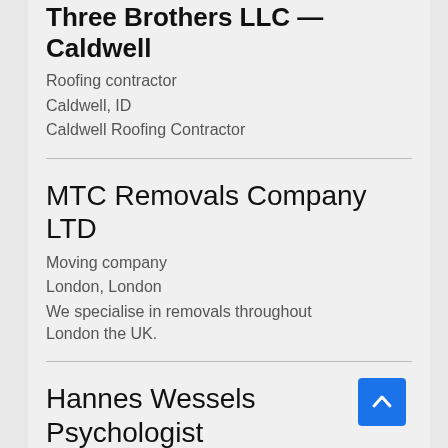Three Brothers LLC — Caldwell
Roofing contractor
Caldwell, ID
Caldwell Roofing Contractor
MTC Removals Company LTD
Moving company
London, London
We specialise in removals throughout London the UK.
Hannes Wessels Psychologist Cape Town
Psychiatrist